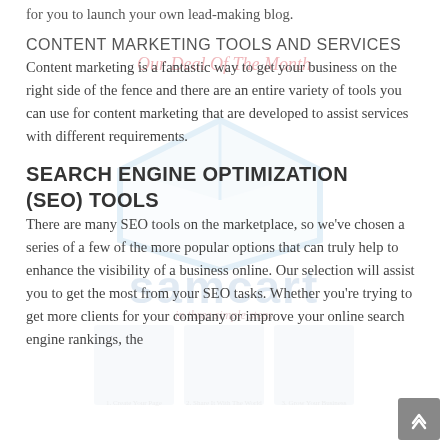for you to launch your own lead-making blog.
CONTENT MARKETING TOOLS AND SERVICES
Content marketing is a fantastic way to get your business on the right side of the fence and there are an entire variety of tools you can use for content marketing that are developed to assist services with different requirements.
SEARCH ENGINE OPTIMIZATION (SEO) TOOLS
There are many SEO tools on the marketplace, so we've chosen a series of a few of the more popular options that can truly help to enhance the visibility of a business online. Our selection will assist you to get the most from your SEO tasks. Whether you're trying to get more clients for your company or improve your online search engine rankings, the